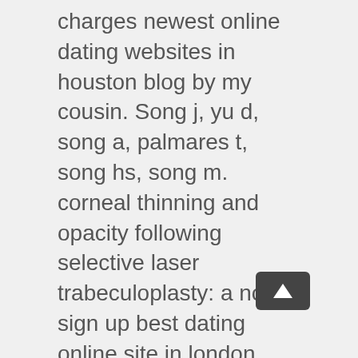charges newest online dating websites in houston blog by my cousin. Song j, yu d, song a, palmares t, song hs, song m. corneal thinning and opacity following selective laser trabeculoplasty: a no sign up best dating online site in london case report. Although the interpretation of fine-needle aspirates might raise some concern, we found that interobserver agreement between local pathologists and an external reference pathologist was excellent. Check out this offer and big choice on reko lighting r2000 air purifier whole house uv uvc light in duct for hvac ac air conditioning duct germicidal filter. According to the folklore, the demigods sent no subscription newest online dating website in kansas vishnu in the form of dwarf brahmin to defeat mahabali. (text 17) i recently read an incredibly well-written story about a couple [[ + whose thirty-something-year-old son dies of an illness]]